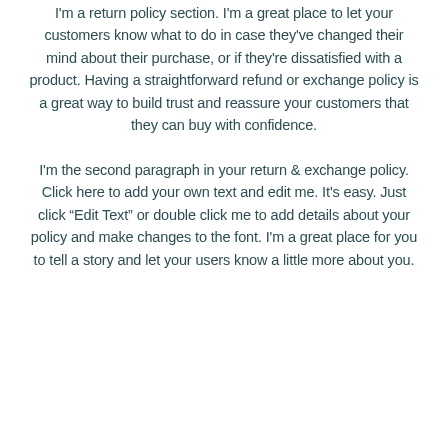I'm a return policy section. I'm a great place to let your customers know what to do in case they've changed their mind about their purchase, or if they're dissatisfied with a product. Having a straightforward refund or exchange policy is a great way to build trust and reassure your customers that they can buy with confidence.
I'm the second paragraph in your return & exchange policy. Click here to add your own text and edit me. It's easy. Just click “Edit Text” or double click me to add details about your policy and make changes to the font. I'm a great place for you to tell a story and let your users know a little more about you.